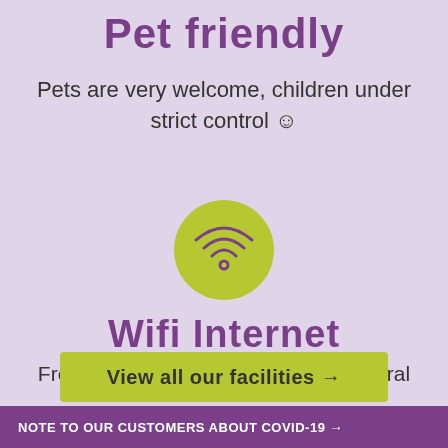Pet friendly
Pets are very welcome, children under strict control ☺
[Figure (illustration): Green circle with a white wifi icon inside]
Wifi Internet
Free wifi– please note the speed is rural
View all our facilities →
NOTE TO OUR CUSTOMERS ABOUT COVID-19 →